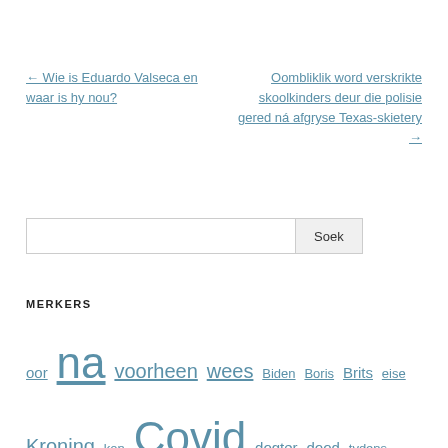← Wie is Eduardo Valseca en waar is hy nou?
Oombliklik word verskrikte skoolkinders deur die polisie gered ná afgryse Texas-skietery →
Soek [search box]
MERKERS
oor na voorheen wees Biden Boris Brits eise Kroning kon Covid dogter dood tydens EastEnders Emmerdale familie eerste gevind vakansie horoskoop man Binne Eiland Eilande Kardashian Katie lyk Mcgregor oomblik prys onthul Ronaldo aandele vertonings klap bederf Straat hul oordrag ontstof kykers Waar vrou jare